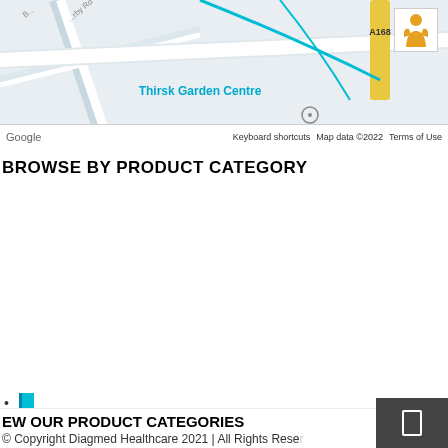[Figure (map): Google Maps view showing Thirsk Garden Centre area with road A168, person icon in top right corner. Bottom bar shows: Google logo, Keyboard shortcuts, Map data ©2022, Terms of Use]
BROWSE BY PRODUCT CATEGORY
Injection Needles
Bleed Management
Cleaning and Decontamination
Retrieval Devices
EW OUR PRODUCT CATEGORIES
© Copyright Diagmed Healthcare 2021 | All Rights Reserved